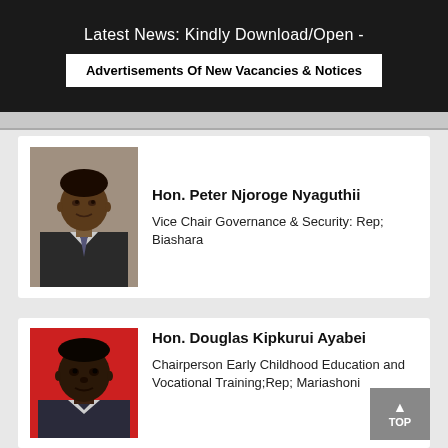Latest News: Kindly Download/Open - Advertisements Of New Vacancies & Notices
[Figure (photo): Portrait photo of Hon. Peter Njoroge Nyaguthii in suit and tie against stone wall background]
Hon. Peter Njoroge Nyaguthii
Vice Chair Governance & Security: Rep; Biashara
[Figure (photo): Portrait photo of Hon. Douglas Kipkurui Ayabei against red background]
Hon. Douglas Kipkurui Ayabei
Chairperson Early Childhood Education and Vocational Training;Rep; Mariashoni